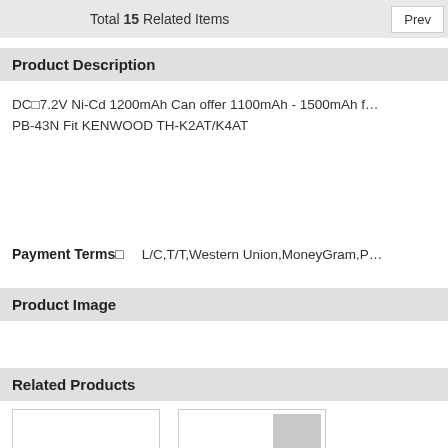Total 15 Related Items
Product Description
DC□7.2V Ni-Cd 1200mAh Can offer 1100mAh - 1500mAh f... PB-43N Fit KENWOOD TH-K2AT/K4AT
Payment Terms□   L/C,T/T,Western Union,MoneyGram,P...
Product Image
Related Products
[Figure (photo): Product image placeholder (empty)]
[Figure (photo): Related product image placeholder with gray thumbnail]